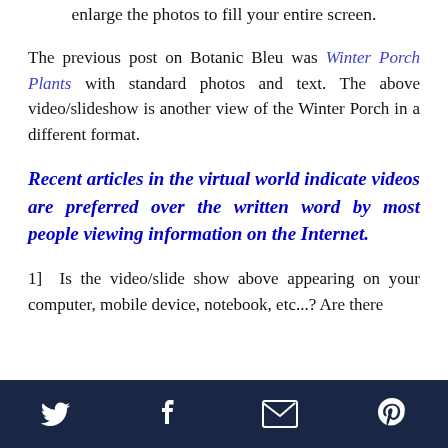enlarge the photos to fill your entire screen.
The previous post on Botanic Bleu was Winter Porch Plants with standard photos and text. The above video/slideshow is another view of the Winter Porch in a different format.
Recent articles in the virtual world indicate videos are preferred over the written word by most people viewing information on the Internet.
1]  Is the video/slide show above appearing on your computer, mobile device, notebook, etc...? Are there
[Twitter] [Facebook] [Email] [Pinterest]